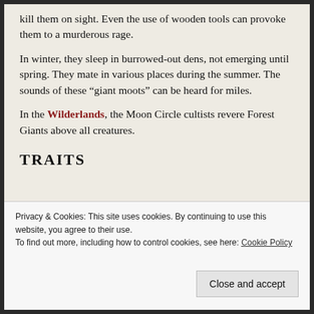kill them on sight. Even the use of wooden tools can provoke them to a murderous rage.
In winter, they sleep in burrowed-out dens, not emerging until spring. They mate in various places during the summer. The sounds of these “giant moots” can be heard for miles.
In the Wilderlands, the Moon Circle cultists revere Forest Giants above all creatures.
TRAITS
Privacy & Cookies: This site uses cookies. By continuing to use this website, you agree to their use.
To find out more, including how to control cookies, see here: Cookie Policy
Close and accept
Birds and other animals have been known to nest